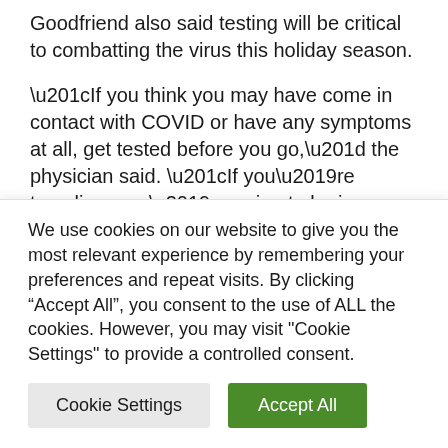Goodfriend also said testing will be critical to combatting the virus this holiday season.
“If you think you may have come in contact with COVID or have any symptoms at all, get tested before you go,” the physician said. “If you’re traveling, you’re going to be in a close space with other people, and even if they’re vaccinated, that may be enough to make them sick.”
They also noted that people can be surprised by their test
We use cookies on our website to give you the most relevant experience by remembering your preferences and repeat visits. By clicking “Accept All”, you consent to the use of ALL the cookies. However, you may visit "Cookie Settings" to provide a controlled consent.